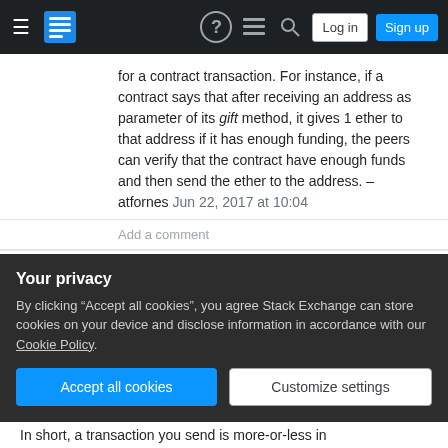Stack Exchange navigation bar with hamburger menu, logo, help, chat, search icons, Log in and Sign up buttons
for a contract transaction. For instance, if a contract says that after receiving an address as parameter of its gift method, it gives 1 ether to that address if it has enough funding, the peers can verify that the contract have enough funds and then send the ether to the address. – atfornes Jun 22, 2017 at 10:04
Add a comment
You asked:
0
... how the signing process happens. Can I
Your privacy
By clicking “Accept all cookies”, you agree Stack Exchange can store cookies on your device and disclose information in accordance with our Cookie Policy.
In short, a transaction you send is more-or-less in